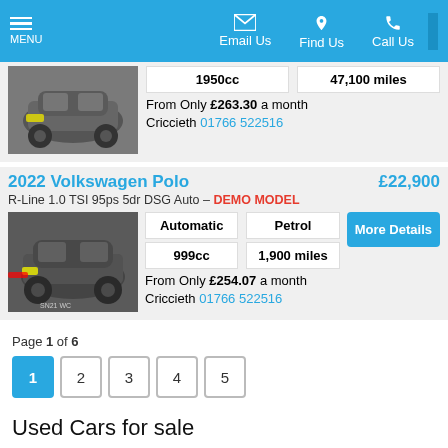MENU | Email Us | Find Us | Call Us
1950cc | 47,100 miles
From Only £263.30 a month
Criccieth 01766 522516
2022 Volkswagen Polo £22,900
R-Line 1.0 TSI 95ps 5dr DSG Auto – DEMO MODEL
Automatic | Petrol
999cc | 1,900 miles
From Only £254.07 a month
Criccieth 01766 522516
Page 1 of 6
1 2 3 4 5
Used Cars for sale
Here is our selection of used cars at Regent Volkswagen in Criccieth Gwynedd.
We offer...